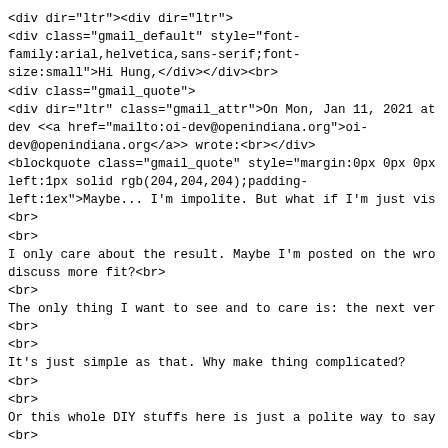<div dir="ltr"><div dir="ltr">
<div class="gmail_default" style="font-family:arial,helvetica,sans-serif;font-size:small">Hi Hung,</div></div><br>
<div class="gmail_quote">
<div dir="ltr" class="gmail_attr">On Mon, Jan 11, 2021 at oi-dev <<a href="mailto:oi-dev@openindiana.org">oi-dev@openindiana.org</a>> wrote:<br></div>
<blockquote class="gmail_quote" style="margin:0px 0px 0px left:1px solid rgb(204,204,204);padding-left:1ex">Maybe... I'm impolite. But what if I'm just vis
<br>
<br>
I only care about the result. Maybe I'm posted on the wro discuss more fit?<br>
<br>
The only thing I want to see and to care is: the next ver
<br>
<br>
It's just simple as that. Why make thing complicated?
<br>
<br>
Or this whole DIY stuffs here is just a polite way to say
<br>
<br>
Then just said: 'Fuck off! We don't care!'. Straight forw
<br></blockquote><div><br></div>
<div class="gmail_default" style="font-family:arial,helvetica,sans-serif;font-size:small">you don't seem to realise or appreciate tha